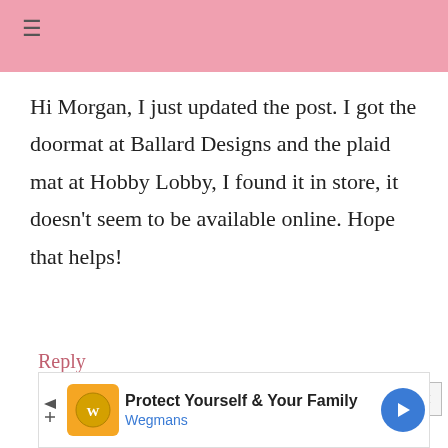Hi Morgan, I just updated the post. I got the doormat at Ballard Designs and the plaid mat at Hobby Lobby, I found it in store, it doesn't seem to be available online. Hope that helps!
Reply
[Figure (infographic): Advertisement banner: Protect Yourself & Your Family - Wegmans]